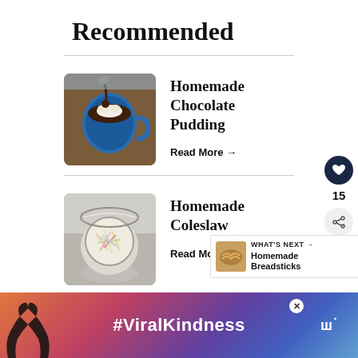Recommended
[Figure (photo): A blue mug of chocolate pudding topped with whipped cream and a spoon drizzling chocolate]
Homemade Chocolate Pudding
Read More →
[Figure (photo): A glass jar of homemade coleslaw with colorful shredded vegetables, top-down view]
Homemade Coleslaw
Read More →
15
WHAT'S NEXT → Homemade Breadsticks
[Figure (photo): Partial view of a third recipe card — Homemade Spaghetti Sauce]
Homemade Spaghetti Sauce
[Figure (photo): Advertisement banner showing a heart hand silhouette against a colorful sky with the text #ViralKindness]